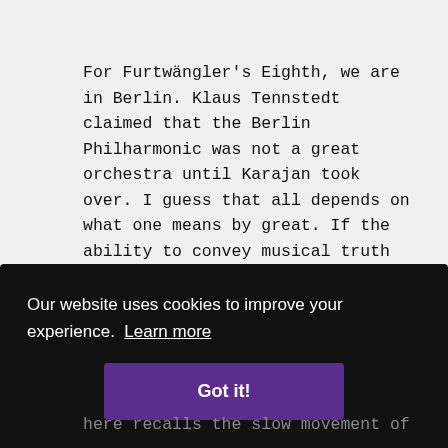For Furtwängler's Eighth, we are in Berlin. Klaus Tennstedt claimed that the Berlin Philharmonic was not a great orchestra until Karajan took over. I guess that all depends on what one means by great. If the ability to convey musical truth is what matters, then Furtwängler's Berliners were one of the greatest orchestras ever. In the first movement of the Eighth Symphony, the orchestral sound is like a
Our website uses cookies to improve your experience. Learn more
Got it!
here recalls the slow movement of